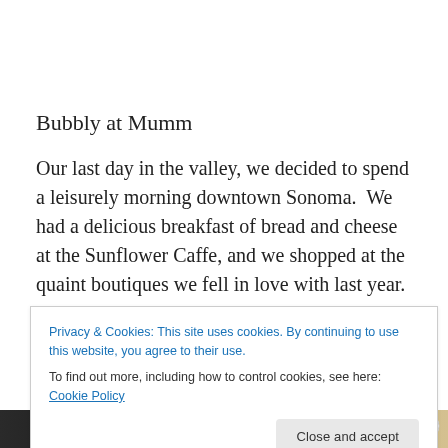Bubbly at Mumm
Our last day in the valley, we decided to spend a leisurely morning downtown Sonoma.  We had a delicious breakfast of bread and cheese at the Sunflower Caffe, and we shopped at the quaint boutiques we fell in love with last year.
Privacy & Cookies: This site uses cookies. By continuing to use this website, you agree to their use.
To find out more, including how to control cookies, see here: Cookie Policy
[Figure (photo): Bottom strip showing partial images of people or objects, cropped at bottom of page]